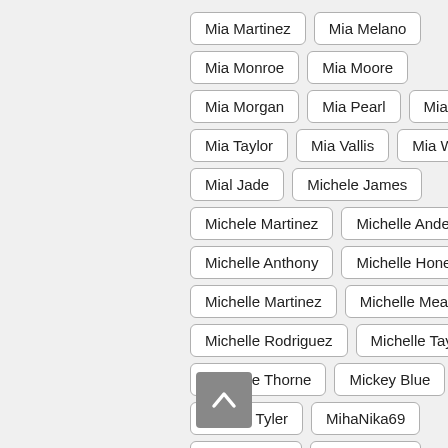Mia Martinez
Mia Melano
Mia Monroe
Mia Moore
Mia Morgan
Mia Pearl
Mia Ryder
Mia Taylor
Mia Vallis
Mia Wallace
Mial Jade
Michele James
Michele Martinez
Michelle Anderson
Michelle Anthony
Michelle Honeywell
Michelle Martinez
Michelle Meadows
Michelle Rodriguez
Michelle Taylor
Michelle Thorne
Mickey Blue
Mickey Tyler
MihaNika69
Mikaela Witt
Mikayla Cox